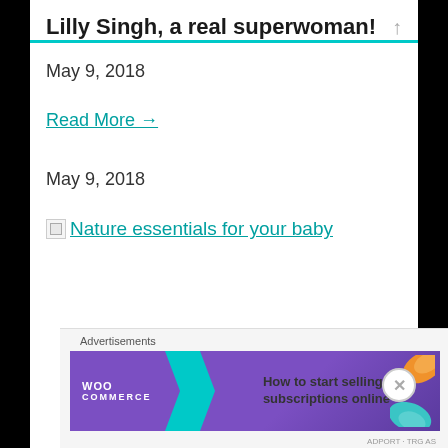Lilly Singh, a real superwoman!
May 9, 2018
Read More →
May 9, 2018
Nature essentials for your baby
[Figure (screenshot): WooCommerce advertisement banner: 'How to start selling subscriptions online']